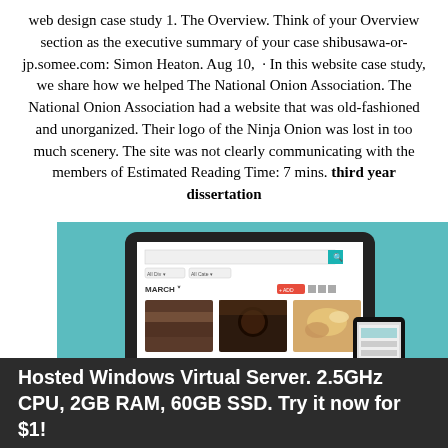web design case study 1. The Overview. Think of your Overview section as the executive summary of your case shibusawa-or-jp.somee.com: Simon Heaton. Aug 10, · In this website case study, we share how we helped The National Onion Association. The National Onion Association had a website that was old-fashioned and unorganized. Their logo of the Ninja Onion was lost in too much scenery. The site was not clearly communicating with the members of Estimated Reading Time: 7 mins. third year dissertation
[Figure (screenshot): Screenshot of a website displayed on a tablet mockup with a teal/cyan background. The screen shows a search interface with filters, a 'MARCH' section header with a red button, and three food/product image cards below. A phone mockup is partially visible at the right edge.]
Hosted Windows Virtual Server. 2.5GHz CPU, 2GB RAM, 60GB SSD. Try it now for $1!